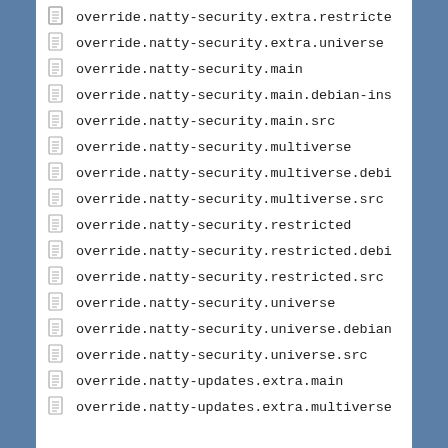override.natty-security.extra.restricted
override.natty-security.extra.universe
override.natty-security.main
override.natty-security.main.debian-installer
override.natty-security.main.src
override.natty-security.multiverse
override.natty-security.multiverse.debian-installer
override.natty-security.multiverse.src
override.natty-security.restricted
override.natty-security.restricted.debian-installer
override.natty-security.restricted.src
override.natty-security.universe
override.natty-security.universe.debian-installer
override.natty-security.universe.src
override.natty-updates.extra.main
override.natty-updates.extra.multiverse